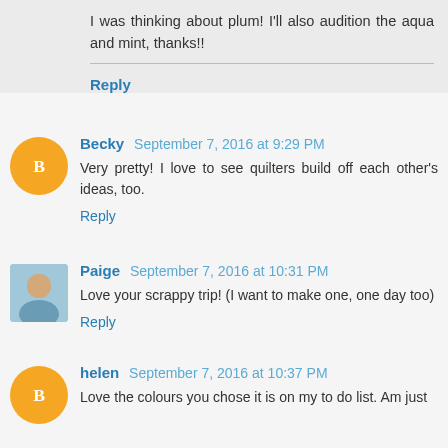I was thinking about plum! I'll also audition the aqua and mint, thanks!!
Reply
Becky September 7, 2016 at 9:29 PM
Very pretty! I love to see quilters build off each other's ideas, too.
Reply
Paige September 7, 2016 at 10:31 PM
Love your scrappy trip! (I want to make one, one day too)
Reply
helen September 7, 2016 at 10:37 PM
Love the colours you chose it is on my to do list. Am just